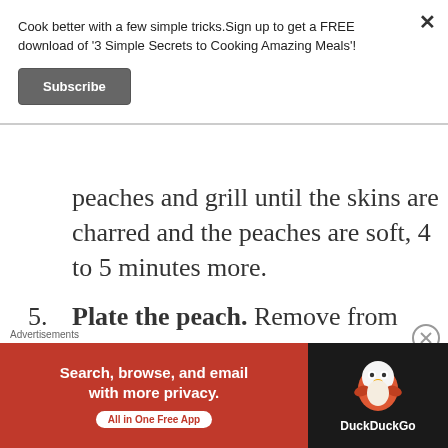Cook better with a few simple tricks.Sign up to get a FREE download of '3 Simple Secrets to Cooking Amazing Meals'!
Subscribe
peaches and grill until the skins are charred and the peaches are soft, 4 to 5 minutes more.
5. Plate the peach. Remove from the grill. Place peach cut side up on dish. Put a scoop of raspberry sorbet on top of the peach and
Advertisements
[Figure (other): DuckDuckGo advertisement banner: orange/red left panel reading 'Search, browse, and email with more privacy. All in One Free App' and dark right panel with DuckDuckGo logo and text]